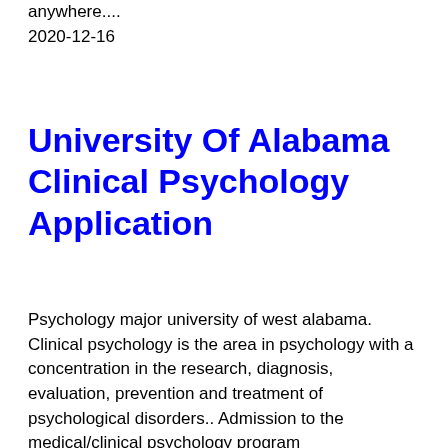anywhere....
2020-12-16
University Of Alabama Clinical Psychology Application
Psychology major university of west alabama. Clinical psychology is the area in psychology with a concentration in the research, diagnosis, evaluation, prevention and treatment of psychological disorders.. Admission to the medical/clinical psychology program